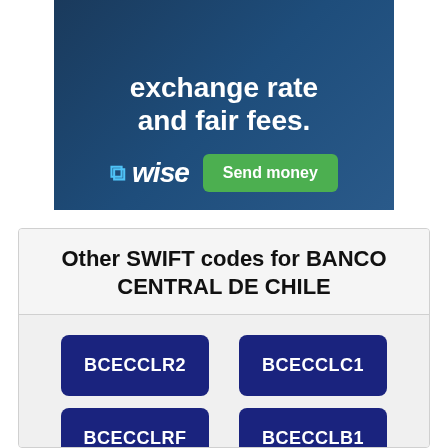[Figure (illustration): Wise advertisement banner with dark blue background showing text 'Get the real exchange rate and fair fees.' with Wise logo and green 'Send money' button]
Other SWIFT codes for BANCO CENTRAL DE CHILE
BCECCLR2
BCECCLC1
BCECCLRF
BCECCLB1